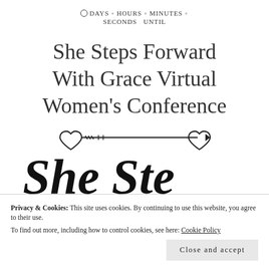0 DAYS  o  HOURS  o  MINUTES  o  0 SECONDS UNTIL
She Steps Forward With Grace Virtual Women's Conference
[Figure (illustration): Decorative arrow with heart-shaped fletching and tip, used as a divider graphic]
[Figure (illustration): Large cursive/script letters partially visible, forming part of an event name or logo]
Privacy & Cookies: This site uses cookies. By continuing to use this website, you agree to their use.
To find out more, including how to control cookies, see here: Cookie Policy
Close and accept